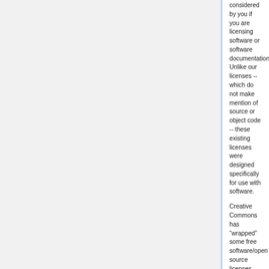considered by you if you are licensing software or software documentation. Unlike our licenses -- which do not make mention of source or object code -- these existing licenses were designed specifically for use with software.
Creative Commons has “wrapped” some free software/open source licenses with its Commons Deed and metadata if you wish to use these licenses and still take advantage of the Creative Commons human-readable code and Creative Commons customized search engine technology. You can find more details here.
Should I use Creative Commons licenses for software documentation?
Absolutely. Creative Commons licenses work well for all text materials.